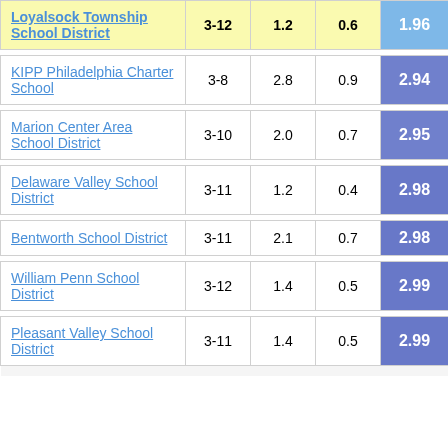| School/District | Grades | Col3 | Col4 | Score |
| --- | --- | --- | --- | --- |
| Loyalsock Township School District | 3-12 | 1.2 | 0.6 | 1.96 |
| KIPP Philadelphia Charter School | 3-8 | 2.8 | 0.9 | 2.94 |
| Marion Center Area School District | 3-10 | 2.0 | 0.7 | 2.95 |
| Delaware Valley School District | 3-11 | 1.2 | 0.4 | 2.98 |
| Bentworth School District | 3-11 | 2.1 | 0.7 | 2.98 |
| William Penn School District | 3-12 | 1.4 | 0.5 | 2.99 |
| Pleasant Valley School District | 3-11 | 1.4 | 0.5 | 2.99 |